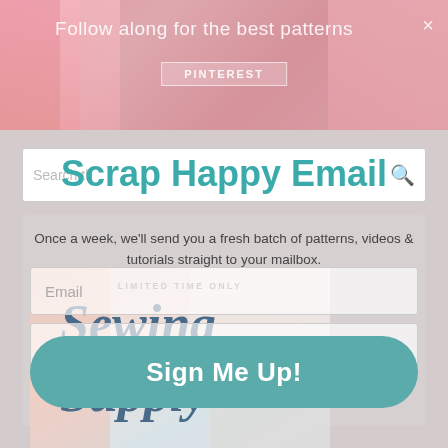[Figure (screenshot): Top banner with sewing/craft themed background image in pink tones with text overlay]
Follow along for the best patterns
PINTEREST
Scrap Happy Email
Once a week, we'll send you a fresh batch of patterns, videos & tutorials straight to your mailbox.
[Figure (illustration): Promotional image showing LIMITED TIME ONLY text with Sewing Supply written in large italic blue text over a collage of sewing supplies]
Email
Name
Sign Me Up!